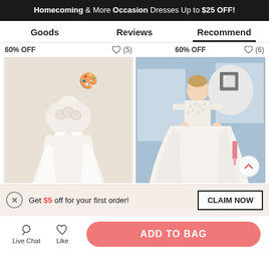Homecoming & More Occasion Dresses Up to $25 OFF!
Goods | Reviews | Recommend
60% OFF (5) 60% OFF (6)
[Figure (photo): White flower girl dress on mannequin with floral bodice and ribbon sash]
[Figure (photo): Young girl wearing white lace ball gown flower girl dress in blue room with balloon]
Get $5 off for your first order! CLAIM NOW
Live Chat | Like | ADD TO BAG